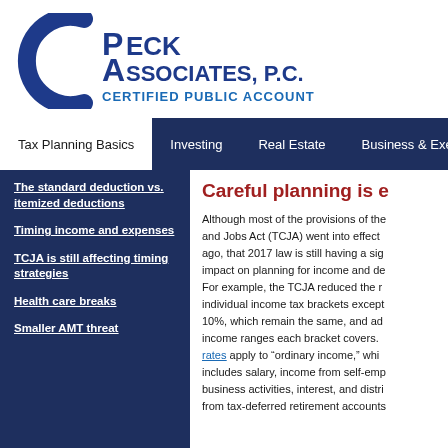[Figure (logo): Peck Associates P.C. Certified Public Accountants logo with large blue C arc and text]
Tax Planning Basics  Investing  Real Estate  Business & Exec...
The standard deduction vs. itemized deductions
Timing income and expenses
TCJA is still affecting timing strategies
Health care breaks
Smaller AMT threat
Careful planning is e
Although most of the provisions of the and Jobs Act (TCJA) went into effect ago, that 2017 law is still having a sig impact on planning for income and de For example, the TCJA reduced the r individual income tax brackets except 10%, which remain the same, and ad income ranges each bracket covers. rates apply to "ordinary income," whi includes salary, income from self-emp business activities, interest, and distri from tax-deferred retirement accounts